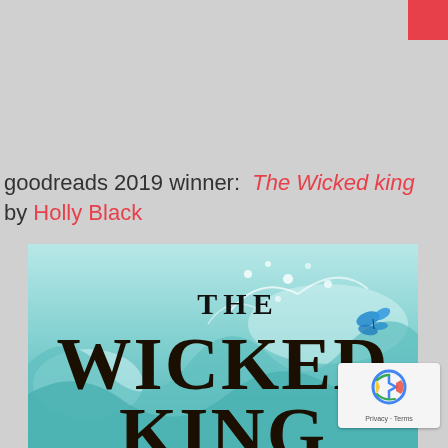goodreads 2019 winner: The Wicked king by Holly Black
[Figure (photo): Book cover of 'The Wicked King' by Holly Black showing large stylized title text with water splashes and a blue butterfly, teal and white color scheme]
[Figure (other): reCAPTCHA badge with Privacy and Terms links]